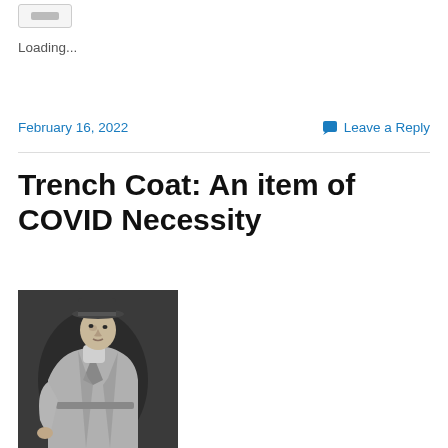[Figure (screenshot): Like button UI element, small rectangular button with grey bar]
Loading...
February 16, 2022    Leave a Reply
Trench Coat: An item of COVID Necessity
[Figure (photo): Black and white photograph of a man wearing a trench coat and fedora hat, looking to the side]